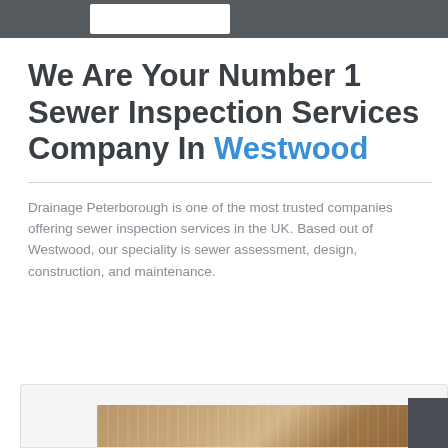We Are Your Number 1 Sewer Inspection Services Company In Westwood
Drainage Peterborough is one of the most trusted companies offering sewer inspection services in the UK. Based out of Westwood, our speciality is sewer assessment, design, construction, and maintenance.
[Figure (photo): Partial view of a sewer or drainage pipe image at the bottom of the page]